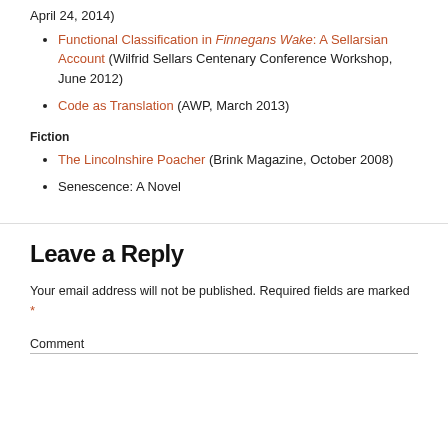April 24, 2014)
Functional Classification in Finnegans Wake: A Sellarsian Account (Wilfrid Sellars Centenary Conference Workshop, June 2012)
Code as Translation (AWP, March 2013)
Fiction
The Lincolnshire Poacher (Brink Magazine, October 2008)
Senescence: A Novel
Leave a Reply
Your email address will not be published. Required fields are marked *
Comment